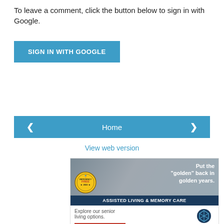To leave a comment, click the button below to sign in with Google.
[Figure (screenshot): Blue 'SIGN IN WITH GOOGLE' button]
[Figure (screenshot): Navigation row with left arrow button, Home button, and right arrow button]
View web version
[Figure (advertisement): Advertisement for Tribute at the Glen Assisted Living & Memory Care: photo of elderly woman with pet, badge reading 'Deficiency Free 2022', headline 'Put the "golden" back in golden years.', blue bar reading 'ASSISTED LIVING & MEMORY CARE', explore senior living options text, Schedule a Tour button, Tribute at the Glen logo]